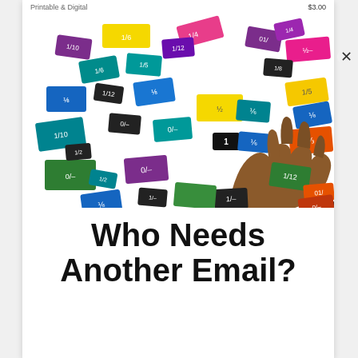Printable & Digital   $3.00
[Figure (photo): Child's hand picking up a small fraction tile card from a scattered collection of colorful fraction tiles/cards on a white surface. The tiles show various fractions (1/8, 1/6, 1/12, 1/3, 1/4, 1/2, 1/5, etc.) in multiple colors including blue, green, teal, orange, purple, black, yellow, and pink.]
Who Needs Another Email?